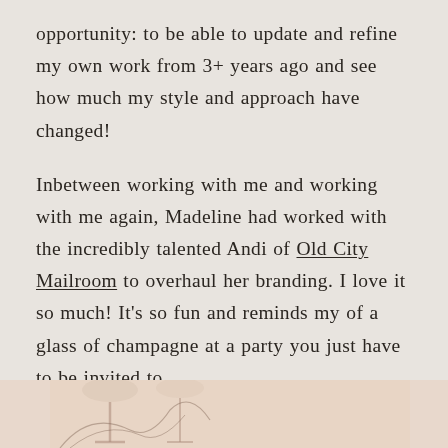opportunity: to be able to update and refine my own work from 3+ years ago and see how much my style and approach have changed!
Inbetween working with me and working with me again, Madeline had worked with the incredibly talented Andi of Old City Mailroom to overhaul her branding. I love it so much! It’s so fun and reminds my of a glass of champagne at a party you just have to be invited to.
[Figure (photo): Bottom strip showing a partial photo with a warm pinkish-beige background and what appears to be champagne glasses or decorative stemware silhouettes]